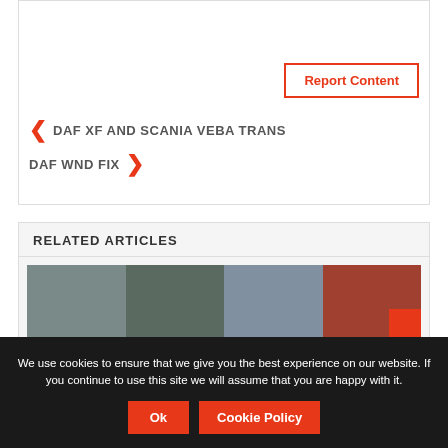Report Content
◀ DAF XF AND SCANIA VEBA TRANS
DAF WND FIX ▶
RELATED ARTICLES
[Figure (photo): Three thumbnail images of trucks from a transportation game]
We use cookies to ensure that we give you the best experience on our website. If you continue to use this site we will assume that you are happy with it.
Ok
Cookie Policy